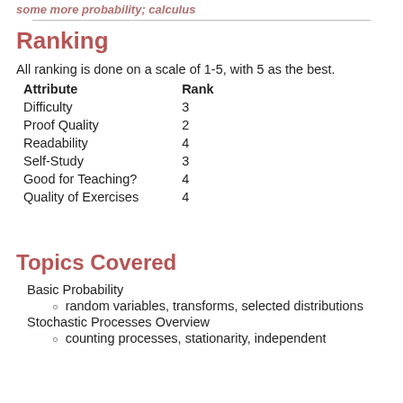some more probability; calculus
Ranking
All ranking is done on a scale of 1-5, with 5 as the best.
| Attribute | Rank |
| --- | --- |
| Difficulty | 3 |
| Proof Quality | 2 |
| Readability | 4 |
| Self-Study | 3 |
| Good for Teaching? | 4 |
| Quality of Exercises | 4 |
Topics Covered
Basic Probability
random variables, transforms, selected distributions
Stochastic Processes Overview
counting processes, stationarity, independent